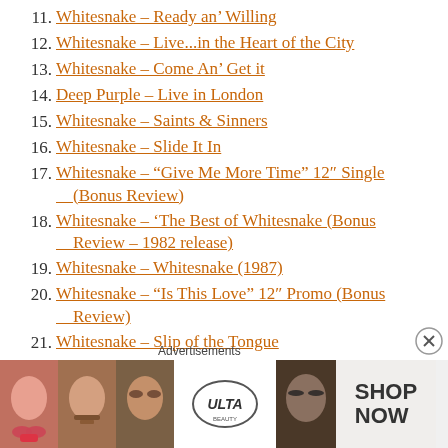11. Whitesnake – Ready an' Willing
12. Whitesnake – Live...in the Heart of the City
13. Whitesnake – Come An' Get it
14. Deep Purple – Live in London
15. Whitesnake – Saints & Sinners
16. Whitesnake – Slide It In
17. Whitesnake – “Give Me More Time” 12″ Single (Bonus Review)
18. Whitesnake – ‘The Best of Whitesnake (Bonus Review – 1982 release)
19. Whitesnake – Whitesnake (1987)
20. Whitesnake – “Is This Love” 12″ Promo (Bonus Review)
21. Whitesnake – Slip of the Tongue
Advertisements
[Figure (photo): Advertisement banner for ULTA beauty with makeup imagery and SHOP NOW call to action]